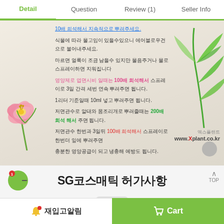Detail | Question | Review (1) | Seller Info
[Figure (photo): Product detail page with Korean instructions on plant fertilizer usage. Background has floral/botanical decorative elements - pink flower on left, green leaves on right. Text includes blue underlined, pink, orange, red, and green colored Korean text. Watermark shows 엑스플랜트 www.Xplant.co.kr]
SG코스매틱 허가사항
재입고알림
Cart